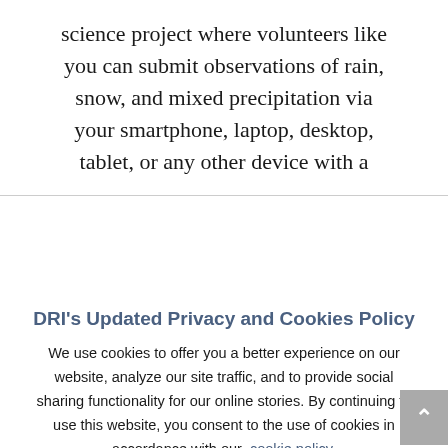science project where volunteers like you can submit observations of rain, snow, and mixed precipitation via your smartphone, laptop, desktop, tablet, or any other device with a
DRI's Updated Privacy and Cookies Policy
We use cookies to offer you a better experience on our website, analyze our site traffic, and to provide social sharing functionality for our online stories. By continuing to use this website, you consent to the use of cookies in accordance with our cookie policy.
ACCEPT   REJECT